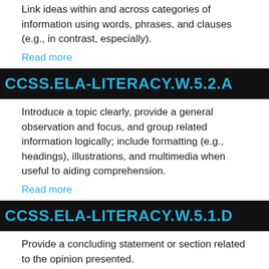Link ideas within and across categories of information using words, phrases, and clauses (e.g., in contrast, especially).
Read more
CCSS.ELA-LITERACY.W.5.2.A
Introduce a topic clearly, provide a general observation and focus, and group related information logically; include formatting (e.g., headings), illustrations, and multimedia when useful to aiding comprehension.
Read more
CCSS.ELA-LITERACY.W.5.1.D
Provide a concluding statement or section related to the opinion presented.
Read more
CCSS.ELA-LITERACY.W.5.1.C